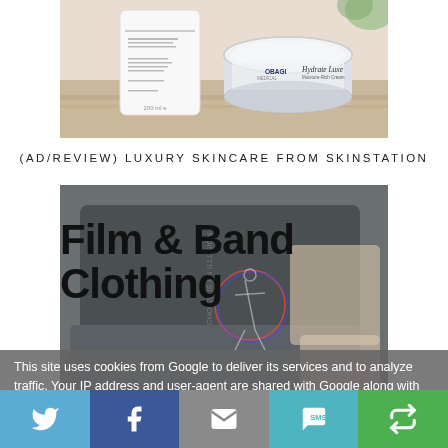[Figure (photo): Obagi Hydrate Luxe Moisture-Rich Cream product photo with white bottle and cream jar on wooden surface]
(AD/REVIEW) LUXURY SKINCARE FROM SKINSTATION
[Figure (photo): Film and Band Clothing — folded dark grey graphic t-shirts with stylized text overlay reading 'Film & Band Clothing']
This site uses cookies from Google to deliver its services and to analyze traffic. Your IP address and user-agent are shared with Google along with performance and security metrics to ensure quality of service, generate